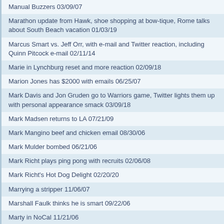Manual Buzzers 03/09/07
Marathon update from Hawk, shoe shopping at bow-tique, Rome talks about South Beach vacation 01/03/19
Marcus Smart vs. Jeff Orr, with e-mail and Twitter reaction, including Quinn Pitcock e-mail 02/11/14
Marie in Lynchburg reset and more reaction 02/09/18
Marion Jones has $2000 with emails 06/25/07
Mark Davis and Jon Gruden go to Warriors game, Twitter lights them up with personal appearance smack 03/09/18
Mark Madsen returns to LA 07/21/09
Mark Mangino beef and chicken email 08/30/06
Mark Mulder bombed 06/21/06
Mark Richt plays ping pong with recruits 02/06/08
Mark Richt's Hot Dog Delight 02/20/20
Marrying a stripper 11/06/07
Marshall Faulk thinks he is smart 09/22/06
Marty in NoCal 11/21/06
Marty in NoCal calls to remind Rome about the 10 year anniversary of his first call, plus Twitter reaction 11/22/16
Marty segment 05/02/07
Marty wants a wax fugerine of Rome 01/25/07
Marty-Valentines Day 02/14/08